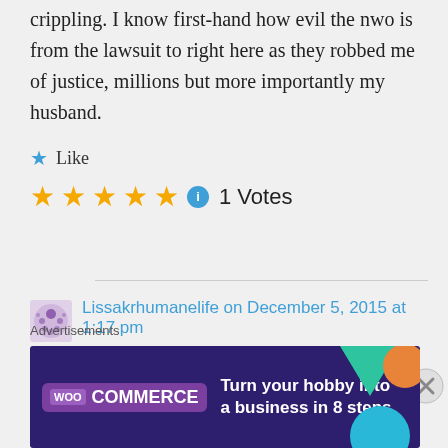crippling. I know first-hand how evil the nwo is from the lawsuit to right here as they robbed me of justice, millions but more importantly my husband.
Like
1 Votes
Lissakrhumanelife on December 5, 2015 at 1:17 pm
PS – your shows are a tremendous
Advertisements
[Figure (other): WooCommerce advertisement banner: Turn your hobby into a business in 8 steps]